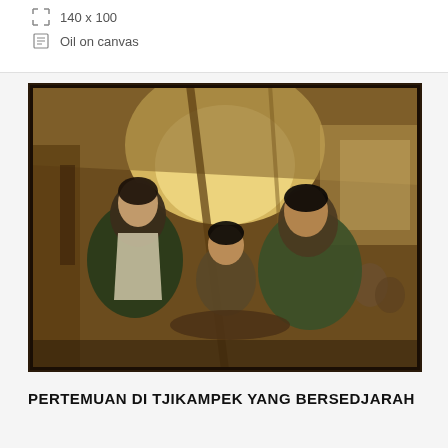140 x 100
Oil on canvas
[Figure (photo): Oil painting depicting three men in conversation inside a rustic wooden structure. The central figure is smaller and seated, flanked by two larger figures. Warm golden light emanates from the background. Additional figures are visible in the background to the right.]
PERTEMUAN DI TJIKAMPEK YANG BERSEDJARAH